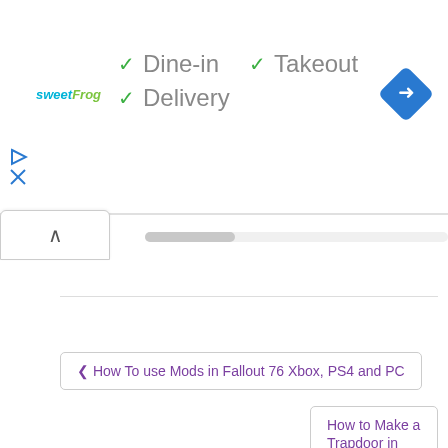[Figure (screenshot): sweetFrog frozen yogurt ad banner with checkmarks for Dine-in, Takeout, Delivery options and blue diamond navigation icon]
✓ Dine-in
✓ Takeout
✓ Delivery
‹ How To use Mods in Fallout 76 Xbox, PS4 and PC
How to Make a Trapdoor in Minecraft ›
Leave a Reply
Your email address will not be published. Required fields are marked
Comment
[Figure (screenshot): IHOP advertisement: Got an Achin' for Bacon? IHOP]